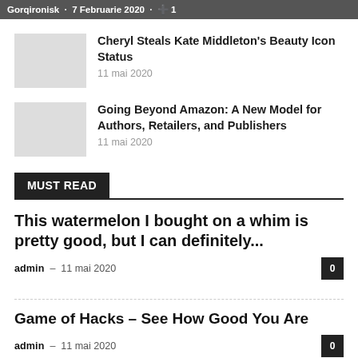Gorqironisk · 7 Februarie 2020 · ⊕ 1
Cheryl Steals Kate Middleton's Beauty Icon Status
11 mai 2020
Going Beyond Amazon: A New Model for Authors, Retailers, and Publishers
11 mai 2020
MUST READ
This watermelon I bought on a whim is pretty good, but I can definitely...
admin – 11 mai 2020
Game of Hacks – See How Good You Are
admin – 11 mai 2020